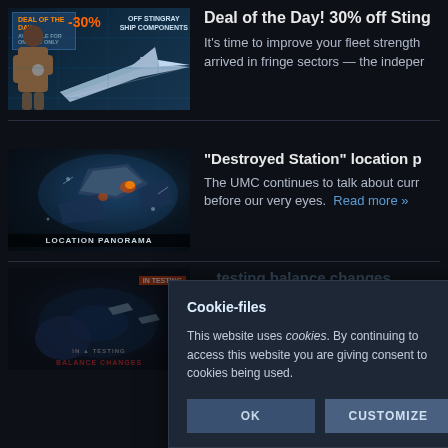[Figure (screenshot): Deal of the Day thumbnail showing a spaceship with -30% off Stingray Ship Components deal badge and a man with a cup]
Deal of the Day! 30% off Sting...
It's time to improve your fleet strength — arrived in fringe sectors — the indeper...
[Figure (screenshot): Destroyed Station location panorama image with sci-fi station debris]
"Destroyed Station" location p...
The UMC continues to talk about curr... before our very eyes.
[Figure (screenshot): Balance Changes testing screenshot with spacecraft and red IN TESTING label]
...testing balance changes
The UMC launches a special test version available in t... t se...
Cookie-files
This website uses cookies. By continuing to access this website you are giving consent to cookies being used.